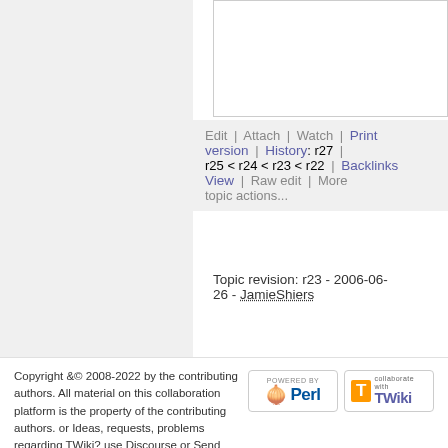[Figure (screenshot): Partial screenshot of a content area with white background and gray border, top portion visible]
Edit | Attach | Watch | Print version | History: r27 | r25 < r24 < r23 < r22 | Backlinks | View | Raw edit | More topic actions...
Topic revision: r23 - 2006-06-26 - JamieShiers
Copyright &© 2008-2022 by the contributing authors. All material on this collaboration platform is the property of the contributing authors. or Ideas, requests, problems regarding TWiki? use Discourse or Send feedback